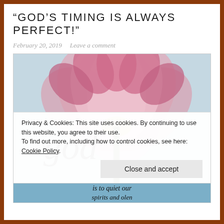“GOD’S TIMING IS ALWAYS PERFECT!”
February 20, 2019   Leave a comment
[Figure (photo): A pink lotus flower photographed from below against a light sky, with the word 'God' in decorative cursive script overlaid in the lower left area of the image.]
Privacy & Cookies: This site uses cookies. By continuing to use this website, you agree to their use.
To find out more, including how to control cookies, see here: Cookie Policy
Close and accept
is to quiet our spirits and olen